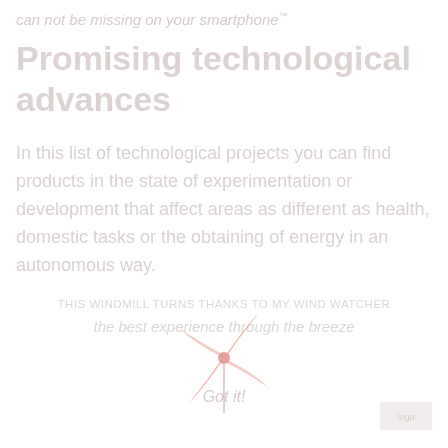can not be missing on your smartphone
Promising technological advances
In this list of technological projects you can find products in the state of experimentation or development that affect areas as different as health, domestic tasks or the obtaining of energy in an autonomous way.
[Figure (illustration): A pink/salmon colored pinwheel/windmill illustration]
THIS WINDMILL TURNS THANKS TO MY WIND WATCHER
the best experience through the breeze
Got it!